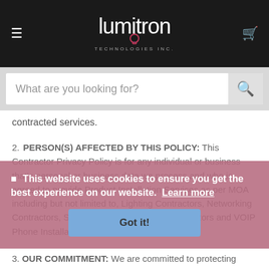Lumitron Technologies Inc. — site header with navigation
What are you looking for?
contracted services.
2. PERSON(S) AFFECTED BY THIS POLICY: This Contractor Privacy Policy is for any individual or business that's personal or business data we process and who is agreed to provide Product Installation Services as per MOA including but not limited to, Lighting Contractors, Networking Contractors, Sound System and Audio Contractors and VOIP Phone Installation Contractors etc.
This website uses cookies to ensure you get the best experience on our website. Learn more
3. OUR COMMITMENT: We are committed to protecting